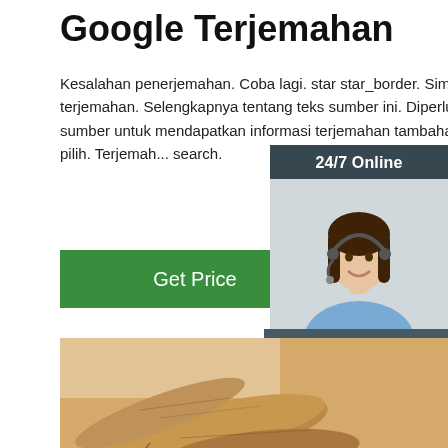Google Terjemahan
Kesalahan penerjemahan. Coba lagi. star star_border. Simpan terjemahan. Selengkapnya tentang teks sumber ini. Diperlukan teks sumber untuk mendapatkan informasi terjemahan tambahan. Tutup alat pilih. Terjemah... search.
[Figure (infographic): 24/7 Online chat widget with female customer service agent wearing headset, 'Click here for free chat!' text, and orange QUOTATION button on dark blue/grey background]
[Figure (photo): Close-up photo of ginseng roots on a wooden surface, with a red and orange TOP badge in the bottom right corner]